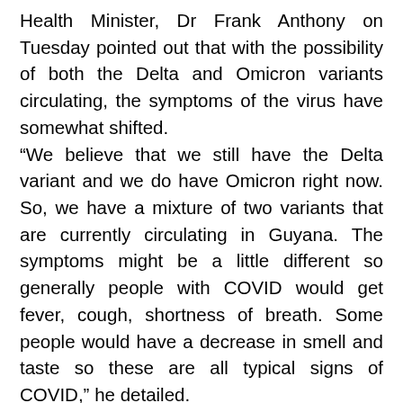Health Minister, Dr Frank Anthony on Tuesday pointed out that with the possibility of both the Delta and Omicron variants circulating, the symptoms of the virus have somewhat shifted. “We believe that we still have the Delta variant and we do have Omicron right now. So, we have a mixture of two variants that are currently circulating in Guyana. The symptoms might be a little different so generally people with COVID would get fever, cough, shortness of breath. Some people would have a decrease in smell and taste so these are all typical signs of COVID,” he detailed. Persons who contracted the Omicron variant have since recorded fatigue, tiredness, nausea,